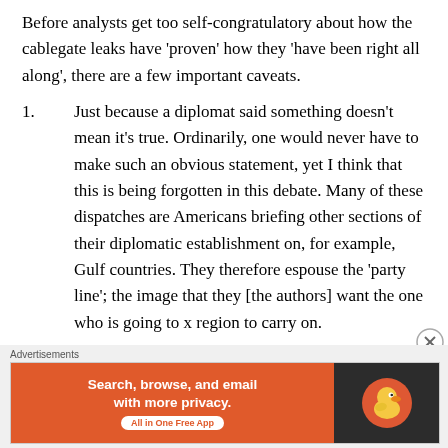Before analysts get too self-congratulatory about how the cablegate leaks have ‘proven’ how they ‘have been right all along’, there are a few important caveats.
1.	Just because a diplomat said something doesn’t mean it’s true. Ordinarily, one would never have to make such an obvious statement, yet I think that this is being forgotten in this debate. Many of these dispatches are Americans briefing other sections of their diplomatic establishment on, for example, Gulf countries. They therefore espouse the ‘party line’; the image that they [the authors] want the one who is going to x region to carry on.
2.	Yes, diplomats often have very good access. But
[Figure (screenshot): DuckDuckGo advertisement banner: orange left panel with text 'Search, browse, and email with more privacy. All in One Free App' and dark right panel with DuckDuckGo duck logo]